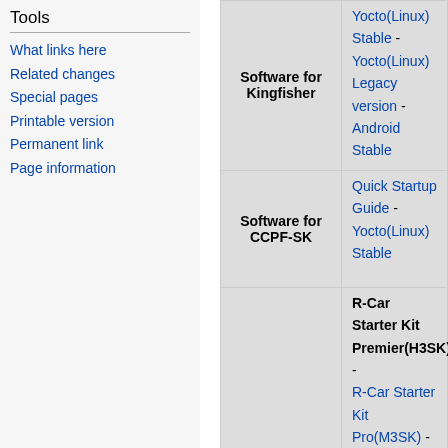Tools
What links here
Related changes
Special pages
Printable version
Permanent link
Page information
|  |  |
| --- | --- |
| Software for Kingfisher | Yocto(Linux) Stable - Yocto(Linux) Legacy version - Android Stable |
| Software for CCPF-SK | Quick Startup Guide - Yocto(Linux) Stable |
| Boards | R-Car Starter Kit Premier(H3SK) - R-Car Starter Kit Pro(M3SK) - R-Car Starter Kit Pro(M3NSK) - Kingfisher Infotainment Board - CCPF-SK |
|  | Yocto Graphics and Multimedia |